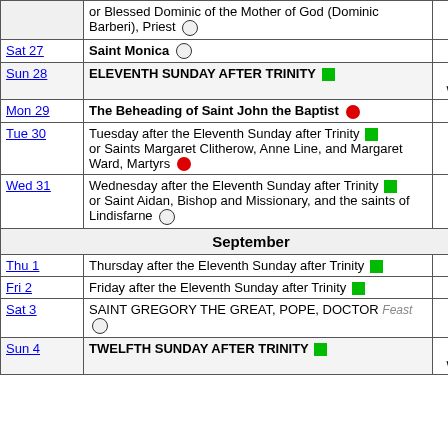| Day | Observance | Notes |
| --- | --- | --- |
|  | or Blessed Dominic of the Mother of God (Dominic Barberi), Priest ○ |  |
| Sat 27 | Saint Monica ○ |  |
| Sun 28 | ELEVENTH SUNDAY AFTER TRINITY ■ | Psalm week 2 |
| Mon 29 | The Beheading of Saint John the Baptist ● |  |
| Tue 30 | Tuesday after the Eleventh Sunday after Trinity ■
or Saints Margaret Clitherow, Anne Line, and Margaret Ward, Martyrs ● |  |
| Wed 31 | Wednesday after the Eleventh Sunday after Trinity ■
or Saint Aidan, Bishop and Missionary, and the saints of Lindisfarne ○ |  |
| September |  |  |
| Thu 1 | Thursday after the Eleventh Sunday after Trinity ■ |  |
| Fri 2 | Friday after the Eleventh Sunday after Trinity ■ |  |
| Sat 3 | SAINT GREGORY THE GREAT, POPE, DOCTOR Feast ○ |  |
| Sun 4 | TWELFTH SUNDAY AFTER TRINITY ■ | Psalm week 3 |